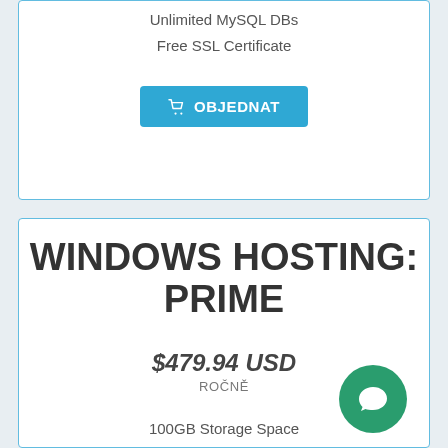Unlimited MySQL DBs
Free SSL Certificate
OBJEDNAT
WINDOWS HOSTING: PRIME
$479.94 USD
ROČNĚ
100GB Storage Space
300GB Data Transfer
50 Websites Hosting
100 MSSQL Databases